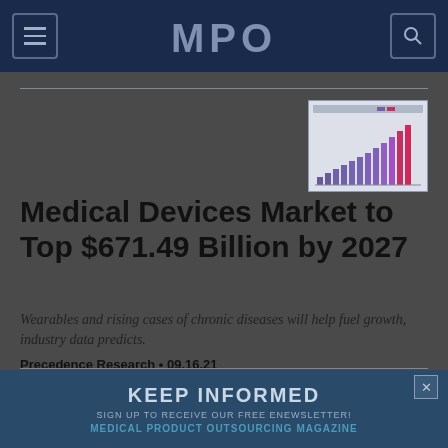MPO
[Figure (bar-chart): Bar chart showing Medical Devices Market growth data with rising bars from left to right, bars in purple/red color scheme]
Medical Devices Market to Top $671.49 Billion by 2027
Wearables and rising cases of chronic diseases will help fuel growth, industry data predicts.
Precedence Research • 09.16.21
KEEP INFORMED
SIGN UP TO RECEIVE OUR FREE ENEWSLETTER!
MEDICAL PRODUCT OUTSOURCING MAGAZINE